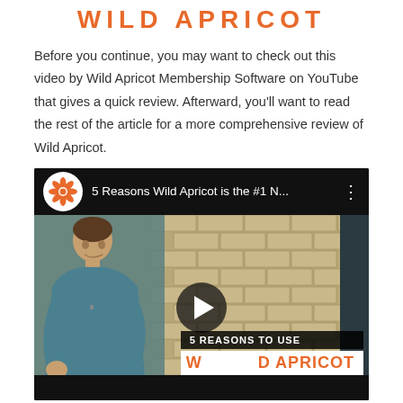WILD APRICOT
Before you continue, you may want to check out this video by Wild Apricot Membership Software on YouTube that gives a quick review. Afterward, you’ll want to read the rest of the article for a more comprehensive review of Wild Apricot.
[Figure (screenshot): YouTube video thumbnail showing a man in a teal t-shirt in front of a brick wall. The video title reads '5 Reasons Wild Apricot is the #1 N...' with the Wild Apricot logo (orange gear/flower icon) in the top bar. An overlay on the lower right shows '5 REASONS TO USE' in a dark box and 'WILD APRICOT' in orange text on a white box. A play button is centered on the video.]